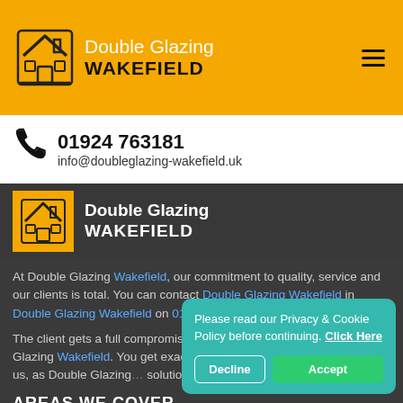Double Glazing WAKEFIELD
01924 763181
info@doubleglazing-wakefield.uk
[Figure (logo): Double Glazing Wakefield logo with house icon on yellow background]
At Double Glazing Wakefield, our commitment to quality, service and our clients is total. You can contact Double Glazing Wakefield in Double Glazing Wakefield on 01924 763181.
The client gets a full compromise of assistance and class from Double Glazing Wakefield. You get exact what you want when you work with us, as Double Glazing [Wakefield] solutions to all of our clients.
AREAS WE COVER
Please read our Privacy & Cookie Policy before continuing. Click Here
Decline
Accept